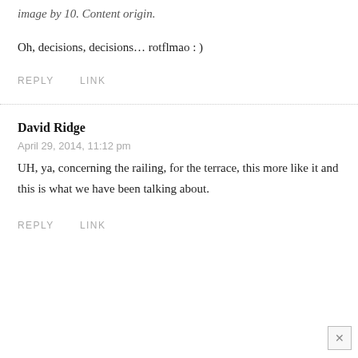image by 10. Content origin.
Oh, decisions, decisions… rotflmao : )
REPLY    LINK
David Ridge
April 29, 2014, 11:12 pm
UH, ya, concerning the railing, for the terrace, this more like it and this is what we have been talking about.
REPLY    LINK